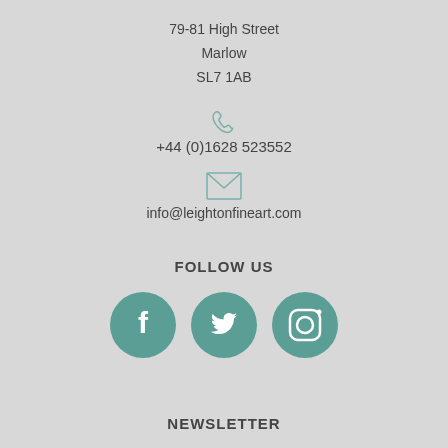79-81 High Street
Marlow
SL7 1AB
[Figure (illustration): Phone icon (handset outline) in teal/grey color]
+44 (0)1628 523552
[Figure (illustration): Email envelope icon outline in teal/grey color]
info@leightonfineart.com
FOLLOW US
[Figure (infographic): Three circular teal social media icons: Facebook (f), Twitter (bird), Instagram (camera)]
NEWSLETTER